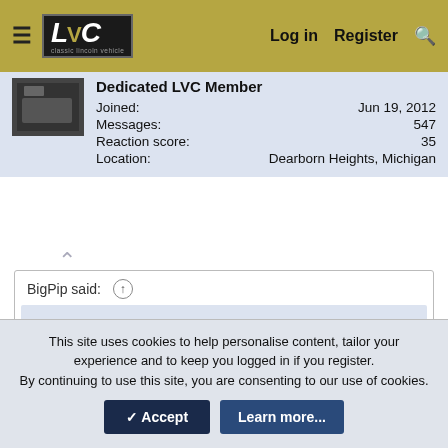LVC   Log in   Register   🔍
Dedicated LVC Member
Joined: Jun 19, 2012
Messages: 547
Reaction score: 35
Location: Dearborn Heights, Michigan
BigPip said: ↑
I was just thinking about that- thats actually why I just got back on LVC to look into what wire it is.
http://www.lincolnsonline.com/tech/00096.html
Bottom of the article
This site uses cookies to help personalise content, tailor your experience and to keep you logged in if you register.
By continuing to use this site, you are consenting to our use of cookies.